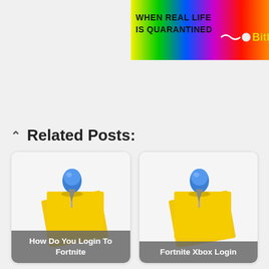[Figure (screenshot): Top banner ad with rainbow gradient background, black bold text 'WHEN REAL LIFE IS QUARANTINED' and yellow logo 'BitL' on right]
Related Posts:
[Figure (illustration): Sticky note with blue thumbtack icon]
How Do You Login To Fortnite
[Figure (illustration): Sticky note with blue thumbtack icon]
Fortnite Xbox Login
[Figure (illustration): Sticky note with blue thumbtack icon]
How To Fix Login Failed On Fortnite
[Figure (illustration): Sticky note with blue thumbtack icon]
Fortnite Battle Royale